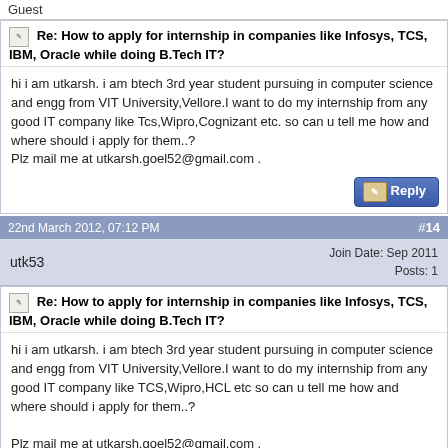Guest
Re: How to apply for internship in companies like Infosys, TCS, IBM, Oracle while doing B.Tech IT?
hi i am utkarsh. i am btech 3rd year student pursuing in computer science and engg from VIT University,Vellore.I want to do my internship from any good IT company like Tcs,Wipro,Cognizant etc. so can u tell me how and where should i apply for them..?
Plz mail me at utkarsh.goel52@gmail.com .
22nd March 2012, 07:12 PM
#14
utk53
Join Date: Sep 2011
Posts: 1
Re: How to apply for internship in companies like Infosys, TCS, IBM, Oracle while doing B.Tech IT?
hi i am utkarsh. i am btech 3rd year student pursuing in computer science and engg from VIT University,Vellore.I want to do my internship from any good IT company like TCS,Wipro,HCL etc so can u tell me how and where should i apply for them..?

Plz mail me at utkarsh.goel52@gmail.com .
8th April 2012, 12:49 PM
#15